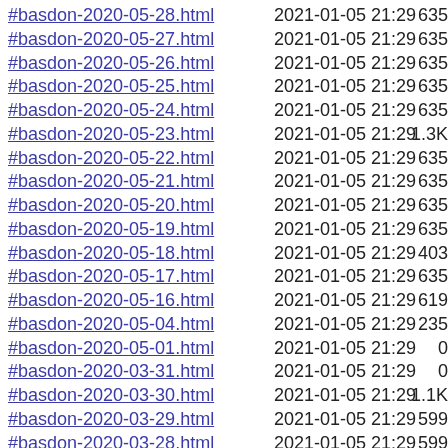#basdon-2020-05-28.html 2021-01-05 21:29 635
#basdon-2020-05-27.html 2021-01-05 21:29 635
#basdon-2020-05-26.html 2021-01-05 21:29 635
#basdon-2020-05-25.html 2021-01-05 21:29 635
#basdon-2020-05-24.html 2021-01-05 21:29 635
#basdon-2020-05-23.html 2021-01-05 21:29 1.3K
#basdon-2020-05-22.html 2021-01-05 21:29 635
#basdon-2020-05-21.html 2021-01-05 21:29 635
#basdon-2020-05-20.html 2021-01-05 21:29 635
#basdon-2020-05-19.html 2021-01-05 21:29 635
#basdon-2020-05-18.html 2021-01-05 21:29 403
#basdon-2020-05-17.html 2021-01-05 21:29 635
#basdon-2020-05-16.html 2021-01-05 21:29 619
#basdon-2020-05-04.html 2021-01-05 21:29 235
#basdon-2020-05-01.html 2021-01-05 21:29 0
#basdon-2020-03-31.html 2021-01-05 21:29 0
#basdon-2020-03-30.html 2021-01-05 21:29 1.1K
#basdon-2020-03-29.html 2021-01-05 21:29 599
#basdon-2020-03-28.html 2021-01-05 21:29 599
#basdon-2020-03-27.html 2021-01-05 21:29 599
#basdon-2020-03-26.html 2021-01-05 21:29 599